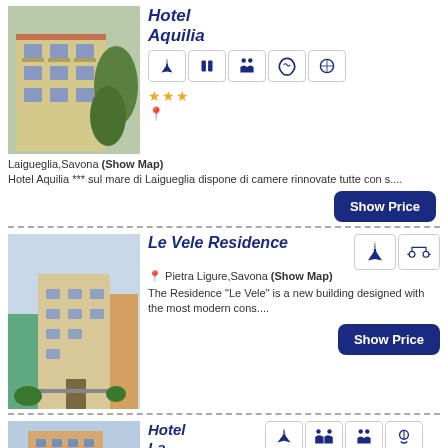[Figure (photo): Photo of Hotel Aquilia building exterior with balconies and greenery]
Hotel Aquilia
★★★
Laigueglia,Savona (Show Map)
Hotel Aquilia *** sul mare di Laigueglia dispone di camere rinnovate tutte con s....
[Figure (photo): Photo of Le Vele Residence building exterior]
Le Vele Residence
Pietra Ligure,Savona (Show Map)
The Residence “Le Vele” is a new building designed with the most modern cons....
[Figure (photo): Photo of Hotel La Marina building exterior]
Hotel La Marina
★★★
San